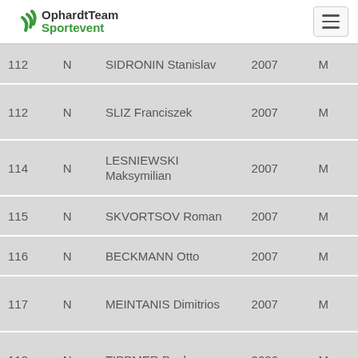OphardtTeam Sportevent
| # | N | Name | Year | Sex |
| --- | --- | --- | --- | --- |
| 112 | N | SIDRONIN Stanislav | 2007 | M |
| 112 | N | SLIZ Franciszek | 2007 | M |
| 114 | N | LESNIEWSKI Maksymilian | 2007 | M |
| 115 | N | SKVORTSOV Roman | 2007 | M |
| 116 | N | BECKMANN Otto | 2007 | M |
| 117 | N | MEINTANIS Dimitrios | 2007 | M |
| 118 | N | TIPPMER Paul | 2006 | M |
| 119 | N | CORYN Noah | 2006 | M |